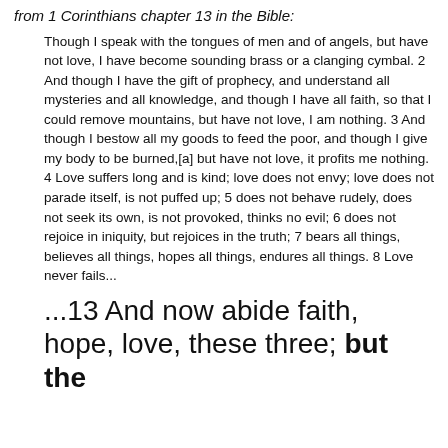from 1 Corinthians chapter 13 in the Bible:
Though I speak with the tongues of men and of angels, but have not love, I have become sounding brass or a clanging cymbal. 2 And though I have the gift of prophecy, and understand all mysteries and all knowledge, and though I have all faith, so that I could remove mountains, but have not love, I am nothing. 3 And though I bestow all my goods to feed the poor, and though I give my body to be burned,[a] but have not love, it profits me nothing. 4 Love suffers long and is kind; love does not envy; love does not parade itself, is not puffed up; 5 does not behave rudely, does not seek its own, is not provoked, thinks no evil; 6 does not rejoice in iniquity, but rejoices in the truth; 7 bears all things, believes all things, hopes all things, endures all things. 8 Love never fails...
...13 And now abide faith, hope, love, these three; but the